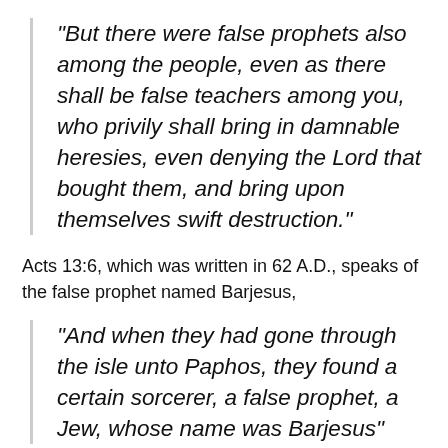“But there were false prophets also among the people, even as there shall be false teachers among you, who privily shall bring in damnable heresies, even denying the Lord that bought them, and bring upon themselves swift destruction.”
Acts 13:6, which was written in 62 A.D., speaks of the false prophet named Barjesus,
“And when they had gone through the isle unto Paphos, they found a certain sorcerer, a false prophet, a Jew, whose name was Barjesus”